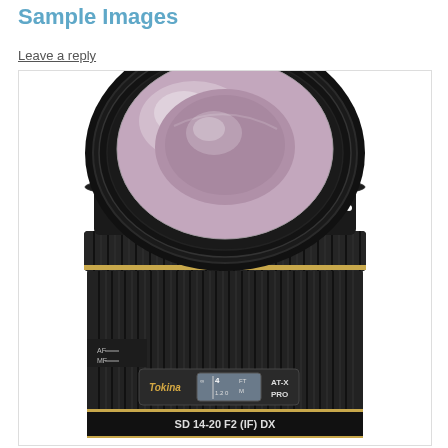Sample Images
Leave a reply
[Figure (photo): Front view of a Tokina AT-X PRO SD 14-20 F2 (IF) DX camera lens, showing the large front element with purplish coating, ribbed focus and zoom rings, a gold accent ring, AF/MF switch, distance window with ft/m scale marked 4 FT and 1.2 0 M, and the lens label 'SD 14-20 F2 (IF) DX']